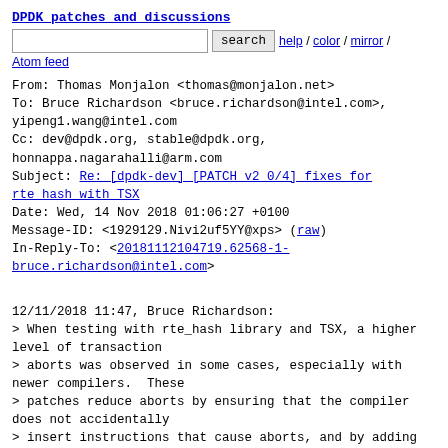DPDK patches and discussions
search  help / color / mirror /
Atom feed
From: Thomas Monjalon <thomas@monjalon.net>
To: Bruce Richardson <bruce.richardson@intel.com>,
yipeng1.wang@intel.com
Cc: dev@dpdk.org, stable@dpdk.org,
honnappa.nagarahalli@arm.com
Subject: Re: [dpdk-dev] [PATCH v2 0/4] fixes for rte hash with TSX
Date: Wed, 14 Nov 2018 01:06:27 +0100
Message-ID: <1929129.Nivi2uf5YY@xps> (raw)
In-Reply-To: <20181112104719.62568-1-bruce.richardson@intel.com>
12/11/2018 11:47, Bruce Richardson:
> When testing with rte_hash library and TSX, a higher level of transaction
> aborts was observed in some cases, especially with newer compilers.  These
> patches reduce aborts by ensuring that the compiler does not accidentally
> insert instructions that cause aborts, and by adding in delays on retry to
> avoid repeated collisions.
>
> Bruce Richardson (2):
>    eal/x86: reduce contention when retrying TSX